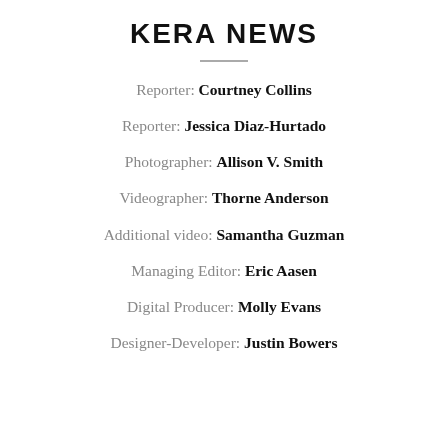KERA NEWS
Reporter: Courtney Collins
Reporter: Jessica Diaz-Hurtado
Photographer: Allison V. Smith
Videographer: Thorne Anderson
Additional video: Samantha Guzman
Managing Editor: Eric Aasen
Digital Producer: Molly Evans
Designer-Developer: Justin Bowers